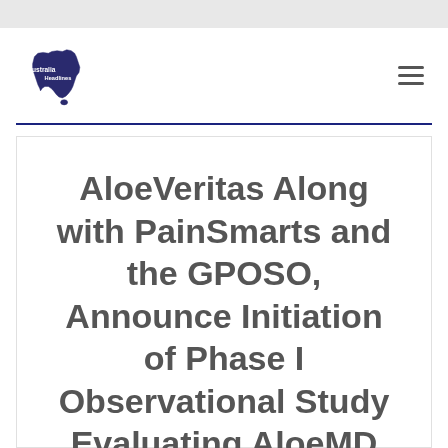[Figure (logo): Australia Headlines logo — outline map of Australia with text 'Australia Headlines' inside]
AloeVeritas Along with PainSmarts and the GPOSO, Announce Initiation of Phase I Observational Study Evaluating AloeMD